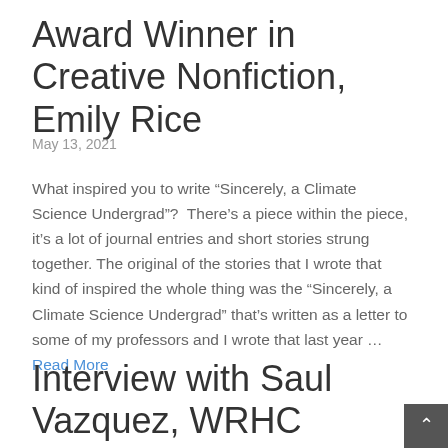Award Winner in Creative Nonfiction, Emily Rice
May 13, 2021
What inspired you to write “Sincerely, a Climate Science Undergrad”?  There’s a piece within the piece, it’s a lot of journal entries and short stories strung together. The original of the stories that I wrote that kind of inspired the whole thing was the “Sincerely, a Climate Science Undergrad” that’s written as a letter to some of my professors and I wrote that last year … Read More
Interview with Saul Vazquez, WRHC Winner in